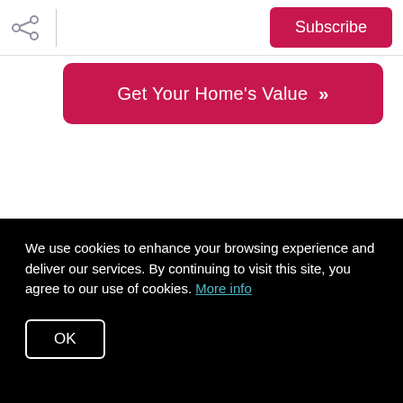Share | Subscribe
Get Your Home's Value »
Want to Learn More?
We use cookies to enhance your browsing experience and deliver our services. By continuing to visit this site, you agree to our use of cookies. More info
OK